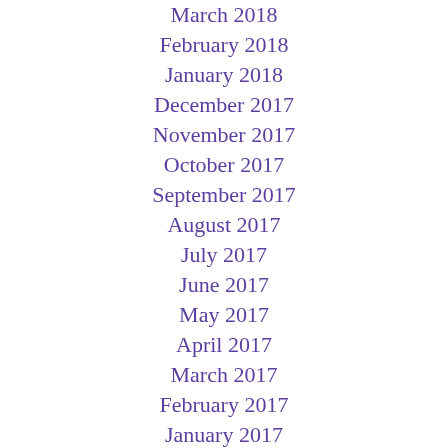March 2018
February 2018
January 2018
December 2017
November 2017
October 2017
September 2017
August 2017
July 2017
June 2017
May 2017
April 2017
March 2017
February 2017
January 2017
December 2016
November 2016